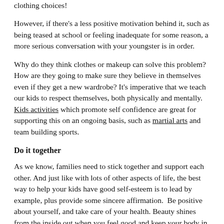clothing choices!
However, if there's a less positive motivation behind it, such as being teased at school or feeling inadequate for some reason, a more serious conversation with your youngster is in order.
Why do they think clothes or makeup can solve this problem? How are they going to make sure they believe in themselves even if they get a new wardrobe? It's imperative that we teach our kids to respect themselves, both physically and mentally. Kids activities which promote self confidence are great for supporting this on an ongoing basis, such as martial arts and team building sports.
Do it together
As we know, families need to stick together and support each other. And just like with lots of other aspects of life, the best way to help your kids have good self-esteem is to lead by example, plus provide some sincere affirmation.  Be positive about yourself, and take care of your health. Beauty shines from the inside out when you feel good and keep your body in good condition!
There are also lots of great online resources if you feel a little lost for words during a conversation about good mental health. And of course, check the ActiveActivities directory for a full listing of activities your